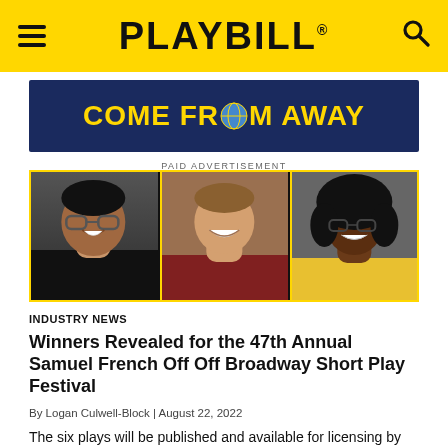PLAYBILL
[Figure (illustration): Come From Away paid advertisement banner with yellow text on dark blue background]
PAID ADVERTISEMENT
[Figure (photo): Three headshot photos of people side by side with yellow border lines between them]
INDUSTRY NEWS
Winners Revealed for the 47th Annual Samuel French Off Off Broadway Short Play Festival
By Logan Culwell-Block | August 22, 2022
The six plays will be published and available for licensing by Samuel French.